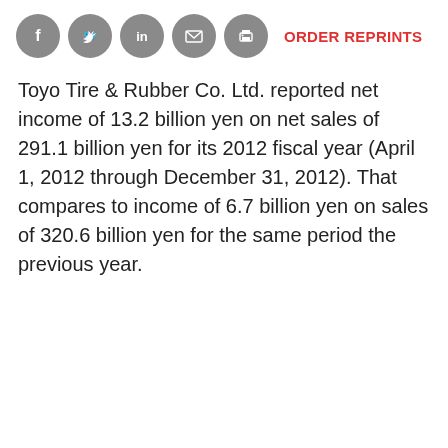[Figure (other): Row of five social sharing icon circles (Facebook, Twitter, LinkedIn, email, print) in grey, followed by a red 'ORDER REPRINTS' text link]
Toyo Tire & Rubber Co. Ltd. reported net income of 13.2 billion yen on net sales of 291.1 billion yen for its 2012 fiscal year (April 1, 2012 through December 31, 2012). That compares to income of 6.7 billion yen on sales of 320.6 billion yen for the same period the previous year.